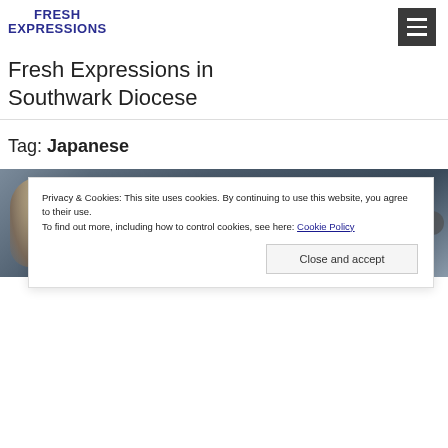FRESH EXPRESSIONS
Fresh Expressions in Southwark Diocese
Tag: Japanese
[Figure (photo): Photograph of a person with grey/white hair against a dark smoky background]
Privacy & Cookies: This site uses cookies. By continuing to use this website, you agree to their use.
To find out more, including how to control cookies, see here: Cookie Policy
Close and accept